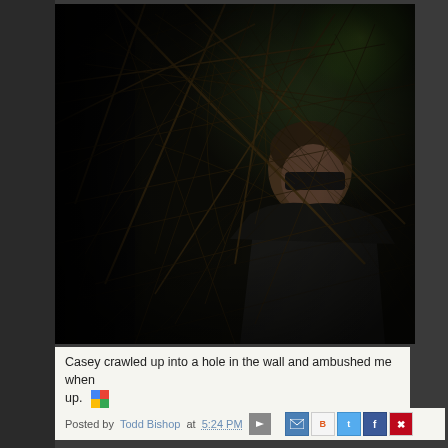[Figure (photo): A person wearing dark clothing and sunglasses crouching among tangled brambles/branches against a dark background with some greenery visible in upper right corner.]
Casey crawled up into a hole in the wall and ambushed me when up.
Posted by Todd Bishop at 5:24 PM